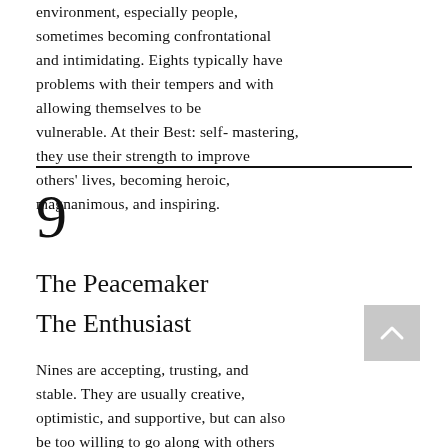environment, especially people, sometimes becoming confrontational and intimidating. Eights typically have problems with their tempers and with allowing themselves to be vulnerable. At their Best: self- mastering, they use their strength to improve others' lives, becoming heroic, magnanimous, and inspiring.
9
The Peacemaker
The Enthusiast
Nines are accepting, trusting, and stable. They are usually creative, optimistic, and supportive, but can also be too willing to go along with others to keep the peace. They want everything